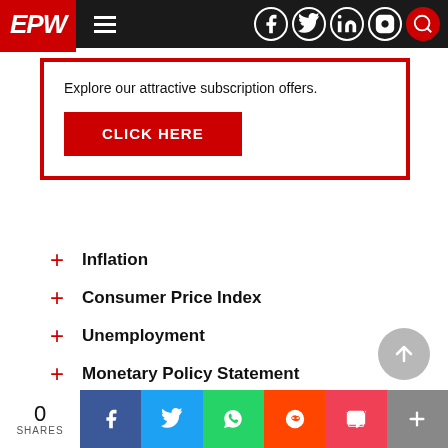EPW navigation bar with logo and social icons
Explore our attractive subscription offers.
CLICK HERE
Inflation
Consumer Price Index
Unemployment
Monetary Policy Statement
RBI
0 SHARES — Facebook, Twitter, WhatsApp, Reddit, Pocket, More share buttons